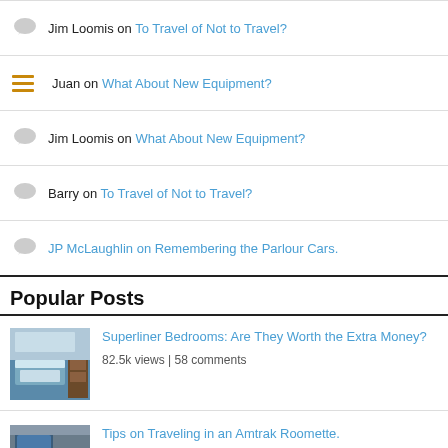Jim Loomis on To Travel of Not to Travel?
Juan on What About New Equipment?
Jim Loomis on What About New Equipment?
Barry on To Travel of Not to Travel?
JP McLaughlin on Remembering the Parlour Cars.
Popular Posts
[Figure (photo): Thumbnail of Superliner bedroom interior]
Superliner Bedrooms: Are They Worth the Extra Money?
82.5k views | 58 comments
[Figure (photo): Thumbnail of Amtrak Roomette interior with blue seats]
Tips on Traveling in an Amtrak Roomette.
482k views | 64 comments
[Figure (photo): Partial thumbnail of another post]